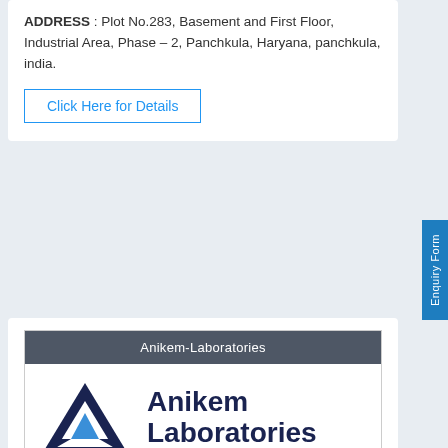ADDRESS : Plot No.283, Basement and First Floor, Industrial Area, Phase – 2, Panchkula, Haryana, panchkula, india.
Click Here for Details
[Figure (logo): Anikem Laboratories logo with dark blue A-shaped triangle mark and blue small triangle, text 'ANIKEM' below, and 'Anikem Laboratories' to the right in dark navy bold font. Header bar reads 'Anikem-Laboratories' on dark grey background.]
Anikem Laboratories
We are please to introduce ANIKEM